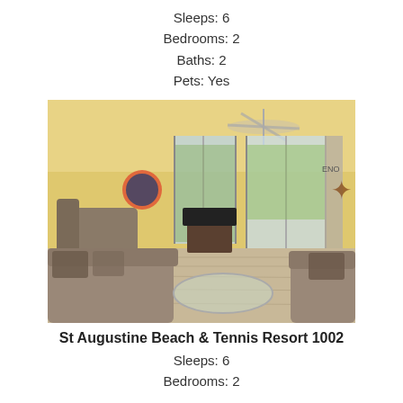Sleeps: 6
Bedrooms: 2
Baths: 2
Pets: Yes
[Figure (photo): Interior photo of a bright yellow-walled living room with sliding glass doors, a ceiling fan, sofas with patterned pillows, a glass coffee table, and a TV on a stand.]
St Augustine Beach & Tennis Resort 1002
Sleeps: 6
Bedrooms: 2